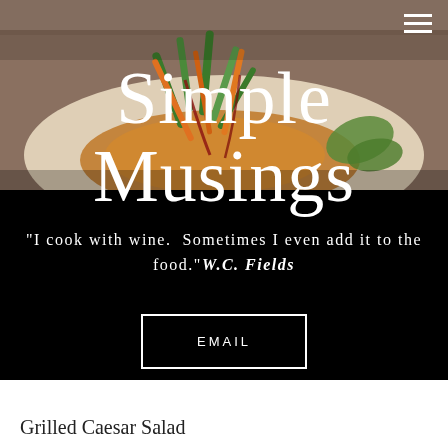[Figure (photo): Close-up photo of a plated dish with colorful vegetables including green beans, carrots, and leafy garnish on an orange/amber sauce, on a white plate, with wooden surface visible in background]
Simple Musings
"I cook with wine.  Sometimes I even add it to the food." W.C. Fields
EMAIL
Grilled Caesar Salad